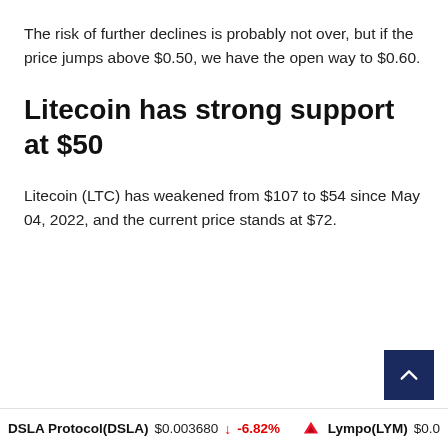The risk of further declines is probably not over, but if the price jumps above $0.50, we have the open way to $0.60.
Litecoin has strong support at $50
Litecoin (LTC) has weakened from $107 to $54 since May 04, 2022, and the current price stands at $72.
DSLA Protocol(DSLA) $0.003680 -6.82% Lympo(LYM) $0.0...